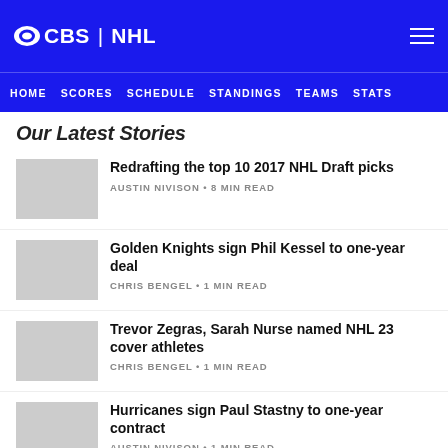CBS | NHL
HOME SCORES SCHEDULE STANDINGS TEAMS STATS
Our Latest Stories
Redrafting the top 10 2017 NHL Draft picks — AUSTIN NIVISON • 8 MIN READ
Golden Knights sign Phil Kessel to one-year deal — CHRIS BENGEL • 1 MIN READ
Trevor Zegras, Sarah Nurse named NHL 23 cover athletes — CHRIS BENGEL • 1 MIN READ
Hurricanes sign Paul Stastny to one-year contract — AUSTIN NIVISON • 1 MIN READ